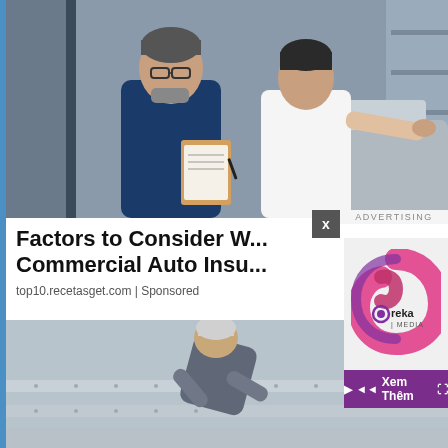[Figure (photo): A man with glasses in a dark blue shirt writing on a clipboard, and a woman in a white blouse touching a car roof, inspecting a vehicle together in a garage/workshop setting]
Factors to Consider W... Commercial Auto Insu...
top10.recetasget.com | Sponsored
[Figure (logo): Ureka Media logo — a spiral shape in pink/magenta with 'Ureka | MEDIA' text, on a light grey background, with video controls bar showing play, rewind icons and 'Xem Thêm' (See More) button in purple]
[Figure (photo): An elderly person with grey/white hair leaning forward on outdoor stairs or platform, wearing a grey/dark coat]